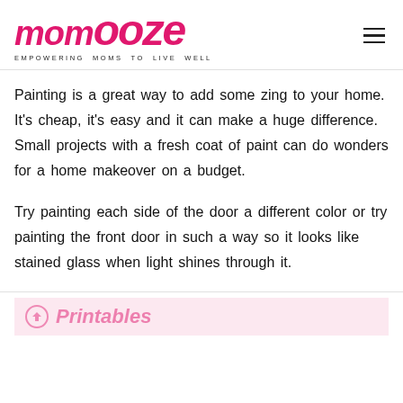momooze — EMPOWERING MOMS TO LIVE WELL
Painting is a great way to add some zing to your home. It's cheap, it's easy and it can make a huge difference. Small projects with a fresh coat of paint can do wonders for a home makeover on a budget.
Try painting each side of the door a different color or try painting the front door in such a way so it looks like stained glass when light shines through it.
[Figure (other): Pink banner with printables icon and text partially visible at bottom of page]